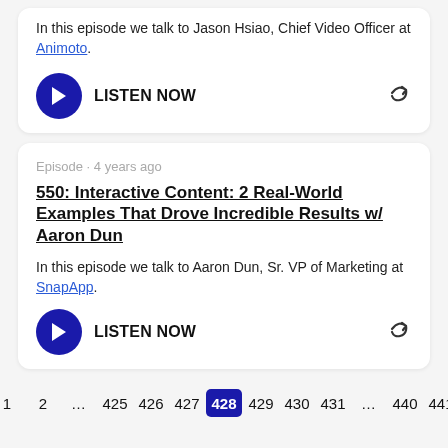In this episode we talk to Jason Hsiao, Chief Video Officer at Animoto.
LISTEN NOW
Episode · 4 years ago
550: Interactive Content: 2 Real-World Examples That Drove Incredible Results w/ Aaron Dun
In this episode we talk to Aaron Dun, Sr. VP of Marketing at SnapApp.
LISTEN NOW
< 1 2 … 425 426 427 428 429 430 431 … 440 441 >